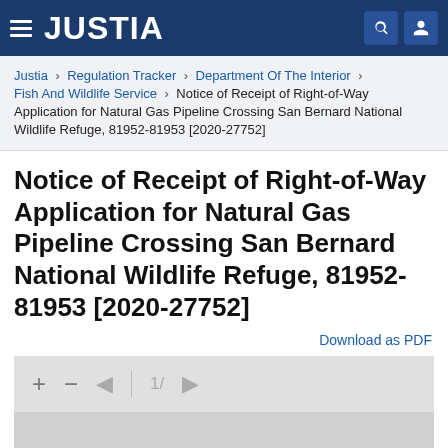JUSTIA
Justia › Regulation Tracker › Department Of The Interior › Fish And Wildlife Service › Notice of Receipt of Right-of-Way Application for Natural Gas Pipeline Crossing San Bernard National Wildlife Refuge, 81952-81953 [2020-27752]
Notice of Receipt of Right-of-Way Application for Natural Gas Pipeline Crossing San Bernard National Wildlife Refuge, 81952-81953 [2020-27752]
Download as PDF
[Figure (screenshot): Document viewer toolbar with zoom controls (+, -), navigation arrows, and page indicator (1/)]